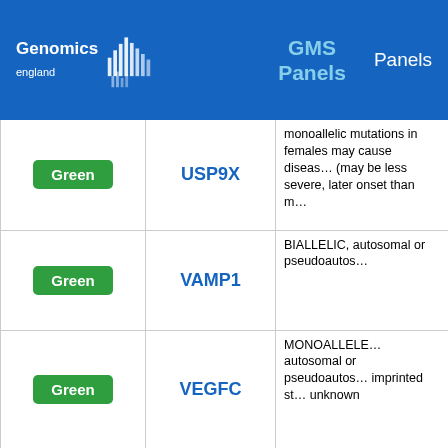Genomics England — GMS Panels
| Status | Gene | Description |
| --- | --- | --- |
| Green | USP9X | monoallelic mutations in females may cause disease (may be less severe, later onset than m... |
| Green | VAMP1 | BIALLELIC, autosomal or pseudoautos... |
| Green | VEGFC | MONOALLELIC, autosomal or pseudoautos... imprinted status unknown |